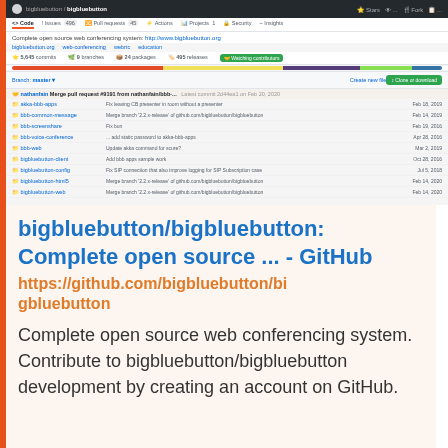[Figure (screenshot): Screenshot of GitHub repository page for bigbluebutton/bigbluebutton showing file listing, language bar, stats, and code view]
bigbluebutton/bigbluebutton: Complete open source ... - GitHub
https://github.com/bigbluebutton/bigbluebutton
Complete open source web conferencing system. Contribute to bigbluebutton/bigbluebutton development by creating an account on GitHub.